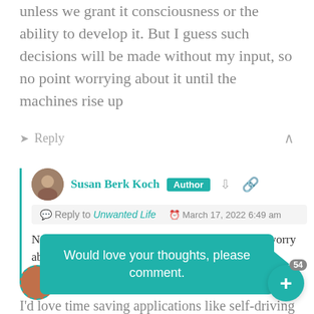unless we grant it consciousness or the ability to develop it. But I guess such decisions will be made without my input, so no point worrying about it until the machines rise up
Reply
Susan Berk Koch  Author  Reply to Unwanted Life  March 17, 2022 6:49 am  No one is asking me, either! Good attitude not to worry about it. Thanks!  Reply
Amy
Would love your thoughts, please comment.
I'd love time saving applications like self-driving